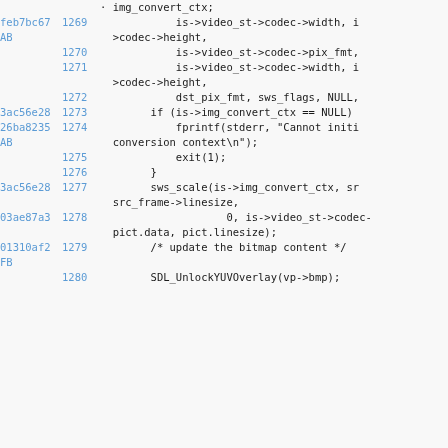Code listing showing lines 1269-1280 of a C source file with git hash annotations